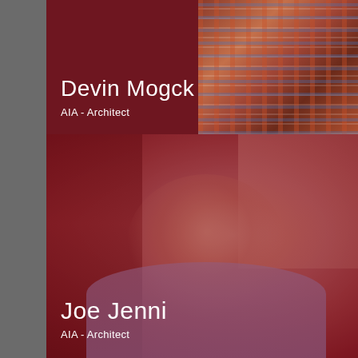[Figure (photo): Profile photo card of Devin Mogck with dark red/maroon overlay. Person wearing a plaid/checkered shirt visible on the right side. Dark background on left portion.]
Devin Mogck
AIA - Architect
[Figure (photo): Profile photo card of Joe Jenni with dark red/maroon overlay. Middle-aged man with gray-blonde hair and glasses wearing a light blue shirt. Blurred interior background.]
Joe Jenni
AIA - Architect